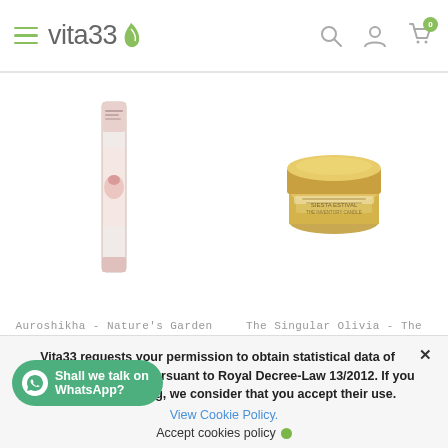vita33 - navigation header with hamburger menu, search, account, and cart icons
[Figure (photo): Auroshikha Nature's Garden Incense - Myrrh product image: tall slim incense stick box with floral design]
Auroshikha - Nature's Garden Incense - Myrrh
[Figure (photo): The Singular Olivia - The Inventory Scented Candle - Siesta estival n246 product image: gold tin candle with lid]
The Singular Olivia - The Inventory Scented Candle - Siesta estival n246
Vita33 requests your permission to obtain statistical data of browsing the web, pursuant to Royal Decree-Law 13/2012. If you continue browsing, we consider that you accept their use.
View Cookie Policy.
Accept cookies policy
Shall we talk on WhatsApp?